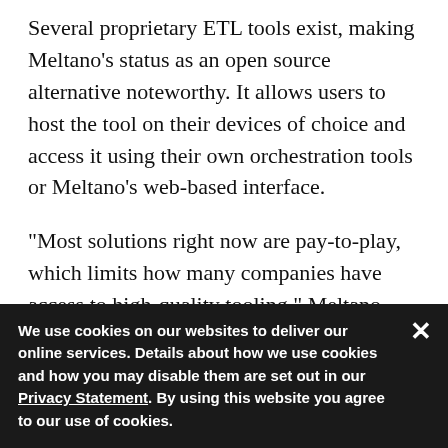Several proprietary ETL tools exist, making Meltano's status as an open source alternative noteworthy. It allows users to host the tool on their devices of choice and access it using their own orchestration tools or Meltano's web-based interface.
"Most solutions right now are pay-to-play, which limits how many companies have access to high-quality tooling," Meltano CEO Douwe Maan told VentureBeat. "Being open source means the long-tail of integrations can be better served by a large community, since vendors typically only support about 150."
We use cookies on our websites to deliver our online services. Details about how we use cookies and how you may disable them are set out in our Privacy Statement. By using this website you agree to our use of cookies.